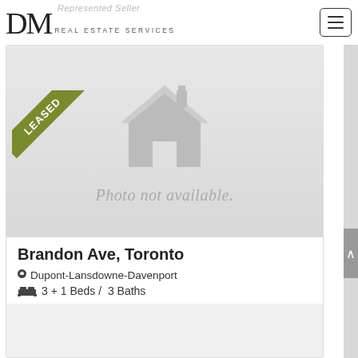Represented Seller
[Figure (logo): DM Real Estate Services logo with large serif DM letters and uppercase tracking text]
[Figure (other): Hamburger menu button with three horizontal lines in a rounded rectangle border]
[Figure (other): Leased diagonal ribbon badge in olive/army green with white bold text LEASED]
[Figure (other): Property photo placeholder showing a grey house silhouette icon and text Photo not available.]
Brandon Ave, Toronto
Dupont-Lansdowne-Davenport
3 + 1 Beds /  3 Baths